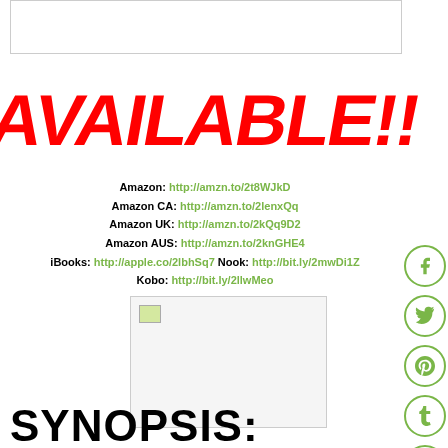[Figure (other): Top header box area (empty/white box)]
[Figure (other): Large decorative red bold text graphic reading 'AVAILABLE!!']
Amazon: http://amzn.to/2t8WJkD
Amazon CA: http://amzn.to/2lenxQq
Amazon UK: http://amzn.to/2kQq9D2
Amazon AUS: http://amzn.to/2knGHE4
iBooks: http://apple.co/2lbhSq7  Nook: http://bit.ly/2mwDi1Z
Kobo: http://bit.ly/2llwMeo
[Figure (photo): Book cover image (partially loaded/broken image shown)]
[Figure (other): Social media icons: Facebook, Twitter, Pinterest, Tumblr, StumbleUpon]
SYNOPSIS: